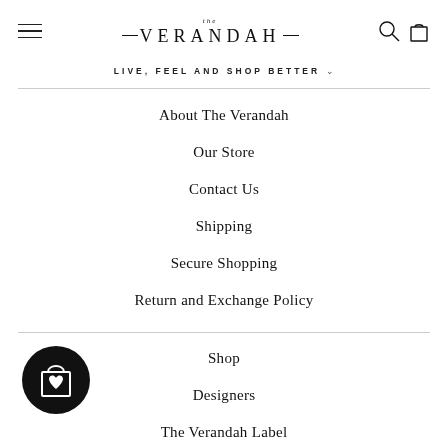The Verandah
LIVE, FEEL AND SHOP BETTER
About The Verandah
Our Store
Contact Us
Shipping
Secure Shopping
Return and Exchange Policy
[Figure (logo): Black circular shopping bag icon with heart]
Shop
Designers
The Verandah Label